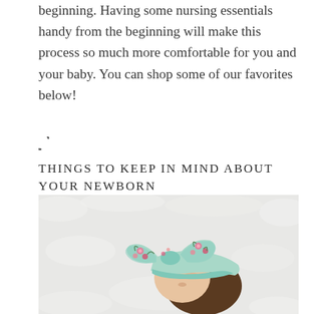beginning. Having some nursing essentials handy from the beginning will make this process so much more comfortable for you and your baby. You can shop some of our favorites below!
[Figure (other): Loading spinner icon (partial circle arc)]
THINGS TO KEEP IN MIND ABOUT YOUR NEWBORN
[Figure (photo): Top-down photo of a newborn baby wearing a mint green floral headband bow, lying on a white fluffy surface. The baby's face is partially visible with dark hair peeking out.]